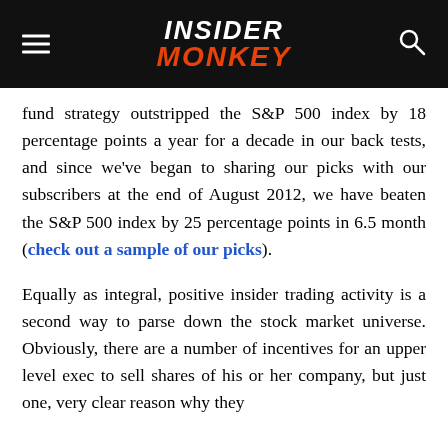INSIDER MONKEY
fund strategy outstripped the S&P 500 index by 18 percentage points a year for a decade in our back tests, and since we've began to sharing our picks with our subscribers at the end of August 2012, we have beaten the S&P 500 index by 25 percentage points in 6.5 month (check out a sample of our picks).
Equally as integral, positive insider trading activity is a second way to parse down the stock market universe. Obviously, there are a number of incentives for an upper level exec to sell shares of his or her company, but just one, very clear reason why they